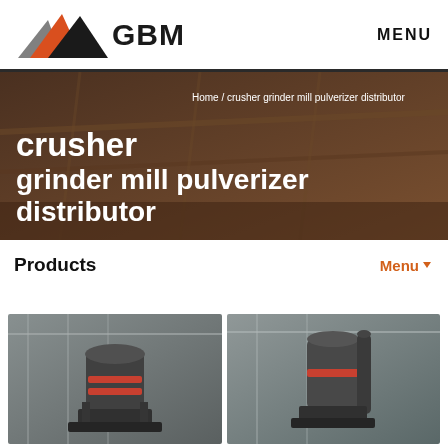[Figure (logo): GBM logo with orange/grey/black mountain triangle graphic and bold GBM text]
MENU
[Figure (photo): Industrial banner background showing heavy machinery structure with orange/brown tones]
Home / crusher grinder mill pulverizer distributor
crusher grinder mill pulverizer distributor
Products
Menu ▼
[Figure (photo): Industrial cone crusher machine in a large factory hall]
[Figure (photo): Industrial grinding mill machine in a large factory hall]